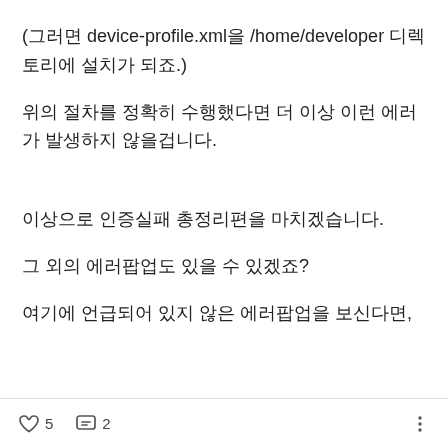(그러면 device-profile.xml을 /home/developer 디렉토리에 설치가 되죠.)
위의 절차를 정확히 수행했다면 더 이상 이런 에러가 발생하지 않을겁니다.
이상으로 인증실패 총정리편을 마치겠습니다.
그 외의 에러팝업도 있을 수 있겠죠?
여기에 언급되어 있지 않은 에러팝업을 보신다면,
♡ 5   💬 2   ⋮